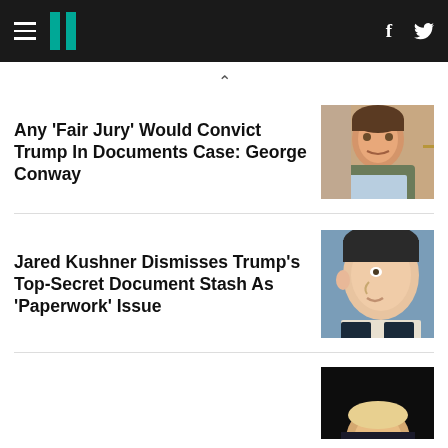HuffPost navigation bar with hamburger menu, logo, Facebook and Twitter icons
Any 'Fair Jury' Would Convict Trump In Documents Case: George Conway
[Figure (photo): Headshot of George Conway, a middle-aged man with brown hair wearing a gray suit]
Jared Kushner Dismisses Trump's Top-Secret Document Stash As 'Paperwork' Issue
[Figure (photo): Close-up headshot of Jared Kushner in profile view against a blue background]
[Figure (photo): Partial headshot of a person, cropped at bottom of page, against a dark background]